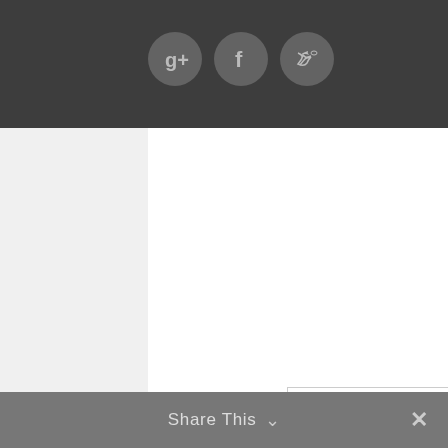[Figure (other): Social media icon buttons: Google+, Facebook, Twitter — circular dark grey buttons on dark grey bar]
Search
[Figure (other): Search input box with Search button]
Most viewed posts
1920s vs. 2020s: Yes, history is repeating itself
SC Tax rebates coming to all
Share This